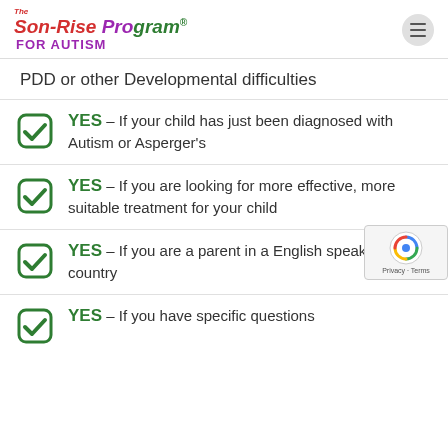The Son-Rise Program FOR AUTISM
PDD or other Developmental difficulties
YES – If your child has just been diagnosed with Autism or Asperger's
YES – If you are looking for more effective, more suitable treatment for your child
YES – If you are a parent in a English speaking country
YES – If you have specific questions